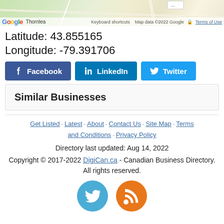[Figure (screenshot): Google Maps screenshot showing Thornlea Secondary School area. Shows map data ©2022 Google, keyboard shortcuts, and Terms of Use labels. A minus button is visible in the top right corner.]
Latitude: 43.855165
Longitude: -79.391706
Facebook | LinkedIn | Twitter (social share buttons)
Similar Businesses
Get Listed ◦ Latest ◦ About ◦ Contact Us ◦ Site Map ◦ Terms and Conditions ◦ Privacy Policy
Directory last updated: Aug 14, 2022
Copyright © 2017-2022 DigiCan.ca - Canadian Business Directory. All rights reserved.
[Figure (illustration): Twitter bird icon (blue circle) and RSS feed icon (orange circle) social media icons]